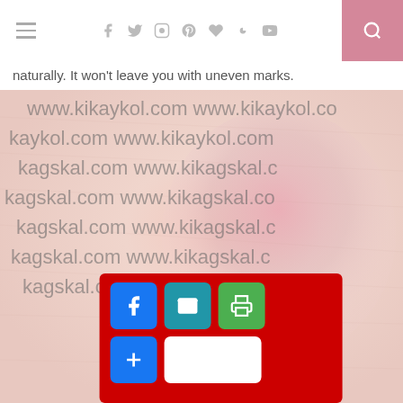[navigation bar with hamburger menu, social icons: facebook, twitter, instagram, pinterest, heart, google+, youtube, and search]
naturally. It won't leave you with uneven marks.
[Figure (photo): Close-up photo of skin (likely an arm or shoulder) with a pinkish-red mark or blemish visible, overlaid with repeated watermark text 'www.kikaykol.com'. At the bottom, a red share bar with Facebook, email, print, and plus buttons.]
[Figure (infographic): Red share toolbar at the bottom of the image with Facebook (blue), email (teal), print (green) icon buttons in a row, and a plus/more button with a white rectangle below.]